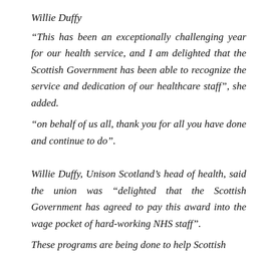Willie Duffy
“This has been an exceptionally challenging year for our health service, and I am delighted that the Scottish Government has been able to recognize the service and dedication of our healthcare staff”, she added.
“on behalf of us all, thank you for all you have done and continue to do”.
Willie Duffy, Unison Scotland’s head of health, said the union was “delighted that the Scottish Government has agreed to pay this award into the wage pocket of hard-working NHS staff”.
These programs are being done to help Scottish